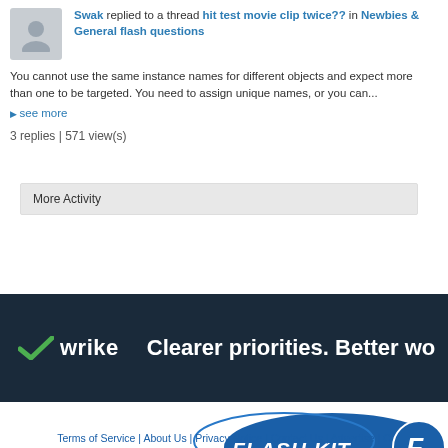Swak replied to a thread hit test movie clip twice?? in Newbies & General flash questions
You cannot use the same instance names for different objects and expect more than one to be targeted. You need to assign unique names, or you can...
▶ see more
3 replies | 571 view(s)
More Activity
Contact Us  Flash Kit  Privacy Statement  Top
[Figure (logo): Wrike logo with green checkmark and text 'Clearer priorities. Better wo...' on dark navy background]
[Figure (logo): Flash Kit logo - blue oval with FLASH KIT text and stylized F]
Terms of Service | About Us | Privacy Notice | Contact Us | Advertise | C...